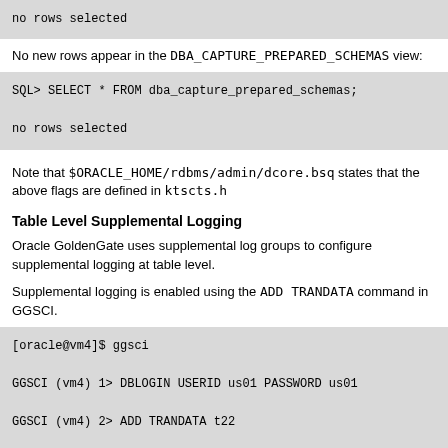no rows selected
No new rows appear in the DBA_CAPTURE_PREPARED_SCHEMAS view:
SQL> SELECT * FROM dba_capture_prepared_schemas;

no rows selected
Note that $ORACLE_HOME/rdbms/admin/dcore.bsq states that the above flags are defined in ktscts.h
Table Level Supplemental Logging
Oracle GoldenGate uses supplemental log groups to configure supplemental logging at table level.
Supplemental logging is enabled using the ADD TRANDATA command in GGSCI.
[oracle@vm4]$ ggsci

GGSCI (vm4) 1> DBLOGIN USERID us01 PASSWORD us01

GGSCI (vm4) 2> ADD TRANDATA t22

Logging of supplemental redo data enabled for table US01.T2
When the above statement is executed, internally the table is locked using: